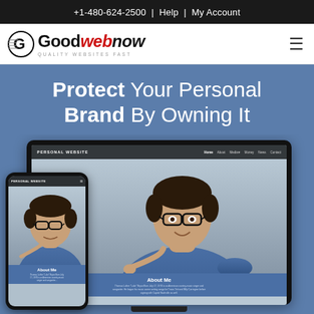+1-480-624-2500 | Help | My Account
[Figure (logo): GoodWebNow logo with tagline QUALITY WEBSITES FAST]
Protect Your Personal Brand By Owning It
[Figure (screenshot): Laptop and mobile phone mockup showing a personal website with a man in a blue shirt wearing glasses, with About Me section visible on both devices]